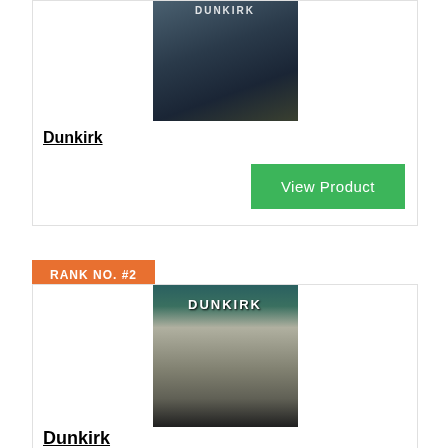[Figure (photo): Movie poster/image for Dunkirk (2017), showing a close-up scene with soldiers on a beach]
Dunkirk
View Product
RANK NO. #2
[Figure (photo): Classic Dunkirk movie poster in black and white, showing two soldiers with helmets, titled DUNKIRK]
Dunkirk